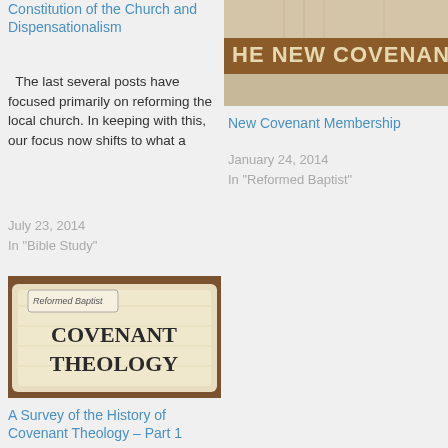Constitution of the Church and Dispensationalism
The last several posts have focused primarily on reforming the local church. In keeping with this, our focus now shifts to what a
July 23, 2014
In "Bible Study"
[Figure (photo): Book or document with text 'HE NEW COVENAN' visible on cover, brownish background]
New Covenant Membership
January 24, 2014
In "Reformed Baptist"
[Figure (photo): Paper scroll or parchment with text 'Reformed Baptist' stamp and 'COVENANT THEOLOGY' printed in large letters on a cream/brown background]
A Survey of the History of Covenant Theology – Part 1
February 17, 2016
In "Bible Study"